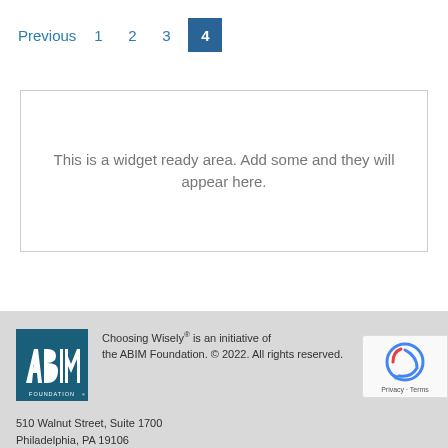Previous  1  2  3  4
This is a widget ready area. Add some and they will appear here.
[Figure (logo): ABIM Foundation logo — square teal/dark blue background with stylized 'ABIM' letters and 'FOUNDATION' text below]
Choosing Wisely® is an initiative of the ABIM Foundation. © 2022. All rights reserved.
510 Walnut Street, Suite 1700
Philadelphia, PA 19106